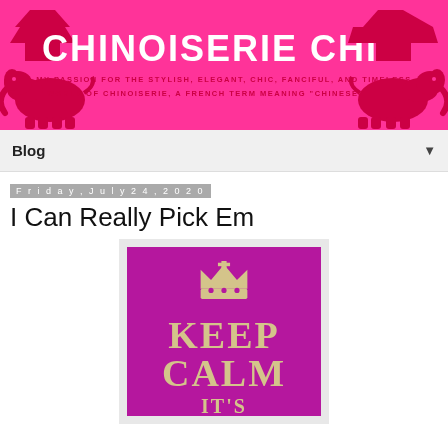[Figure (logo): Chinoiserie Chic blog header banner in hot pink with white bold text title 'CHINOISERIE CHIC', subtitle about passion for chinoiserie, and decorative red elephant and pagoda silhouettes on both sides]
Blog ▼
Friday, July 24, 2020
I Can Really Pick Em
[Figure (illustration): Keep Calm poster style image with magenta/purple background, gold crown at top, and text 'KEEP CALM IT'S' in gold serif lettering]